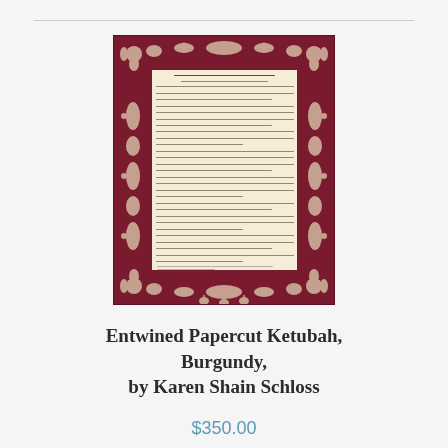[Figure (photo): A Ketubah (Jewish marriage contract) with burgundy/dark red background and intricate white papercut border design. The center contains cream/off-white text in Hebrew and English.]
Entwined Papercut Ketubah, Burgundy, by Karen Shain Schloss
$350.00
... more info